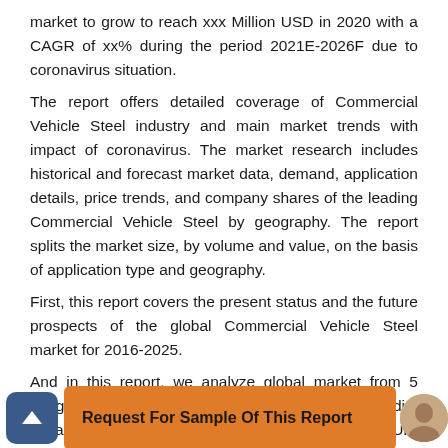market to grow to reach xxx Million USD in 2020 with a CAGR of xx% during the period 2021E-2026F due to coronavirus situation.
The report offers detailed coverage of Commercial Vehicle Steel industry and main market trends with impact of coronavirus. The market research includes historical and forecast market data, demand, application details, price trends, and company shares of the leading Commercial Vehicle Steel by geography. The report splits the market size, by volume and value, on the basis of application type and geography.
First, this report covers the present status and the future prospects of the global Commercial Vehicle Steel market for 2016-2025.
And in this report, we analyze global market from 5 geographies: Asia-Pacific[China, Southeast Asia, India, Japan, Korea, Western Asia], Europe[Germany, UK, France, Italy, Russia, Spain, Netherlands, Turkey, ...s, Canada, Mexico], Middle East & Africa[GCC, North Africa, South Africa], South America[...]
[Figure (other): Bottom bar with back-to-top arrow button (dark blue rounded square), orange 'Request For Sample Of This Report' button, and a small avatar/profile photo on the right.]